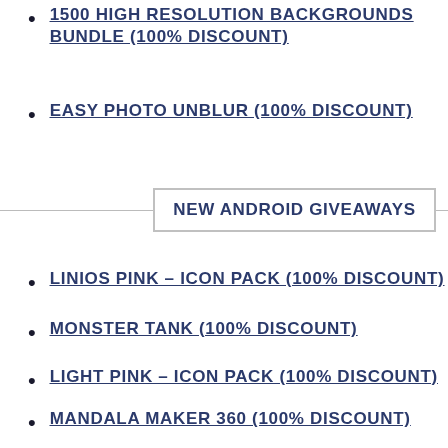1500 HIGH RESOLUTION BACKGROUNDS BUNDLE (100% DISCOUNT)
EASY PHOTO UNBLUR (100% DISCOUNT)
NEW ANDROID GIVEAWAYS
LINIOS PINK – ICON PACK (100% DISCOUNT)
MONSTER TANK (100% DISCOUNT)
LIGHT PINK – ICON PACK (100% DISCOUNT)
MANDALA MAKER 360 (100% DISCOUNT)
INSPIRE – ICON PACK (100% DISCOUNT)